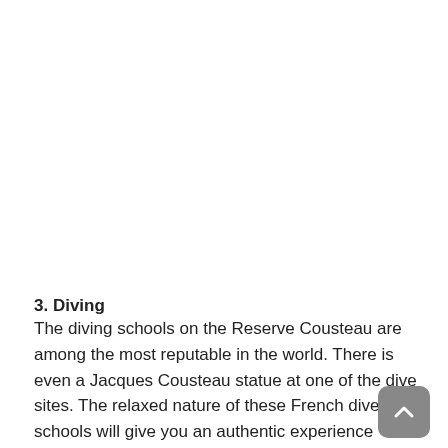3. Diving
The diving schools on the Reserve Cousteau are among the most reputable in the world. There is even a Jacques Cousteau statue at one of the dive sites. The relaxed nature of these French dive schools will give you an authentic experience exploring these crystal waters, and the opportunity to see some of the largest varieties of fish in the Caribbean. There area multitude of diving options from snorkelling, first time diving, exploring or deep